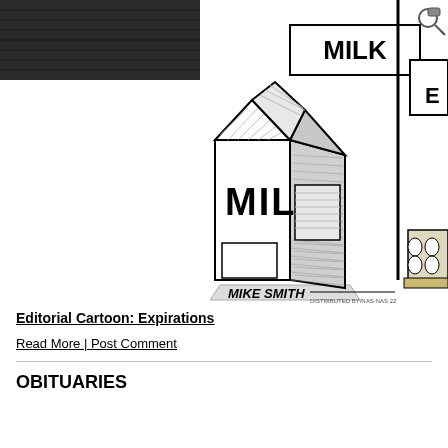[Figure (illustration): Editorial cartoon showing a refrigerator interior. A 'MILK' sign/label is visible at top center, and a partial sign with 'ES' appears at upper right. In the center of the image is a milk carton labeled 'MILK' drawn in black and white ink style. At the far right edge, an egg carton with eggs is partially visible. The cartoon is signed by the artist Mike Smith with a distribution line reading 'DISTRIBUTED BY/NAS-NAS 22']
Editorial Cartoon: Expirations
Read More | Post Comment
OBITUARIES